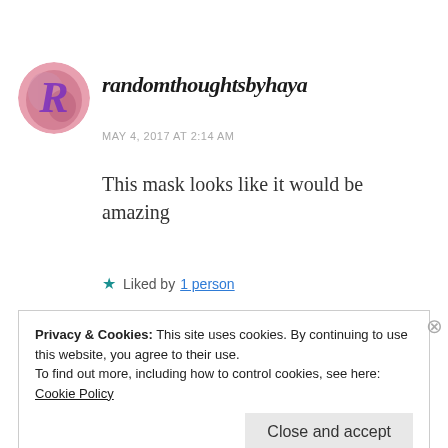[Figure (logo): Circular avatar with purple letter R on a pink/purple watercolor background for randomthoughtsbyhaya blog]
randomthoughtsbyhaya
MAY 4, 2017 AT 2:14 AM
This mask looks like it would be amazing
★ Liked by 1 person
Privacy & Cookies: This site uses cookies. By continuing to use this website, you agree to their use.
To find out more, including how to control cookies, see here:
Cookie Policy
Close and accept